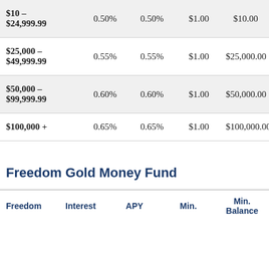| Balance Range | Interest | APY | Min. | Min. Balance |
| --- | --- | --- | --- | --- |
| $10 – $24,999.99 | 0.50% | 0.50% | $1.00 | $10.00 |
| $25,000 – $49,999.99 | 0.55% | 0.55% | $1.00 | $25,000.00 |
| $50,000 – $99,999.99 | 0.60% | 0.60% | $1.00 | $50,000.00 |
| $100,000 + | 0.65% | 0.65% | $1.00 | $100,000.00 |
Freedom Gold Money Fund
| Freedom | Interest | APY | Min. | Min. Balance |
| --- | --- | --- | --- | --- |